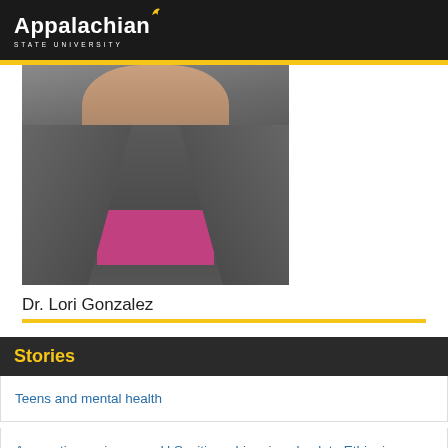Appalachian State University
[Figure (photo): Photo of Dr. Lori Gonzalez, a woman wearing a grey tweed blazer over a pink/magenta top, photographed from chest up against a dark background.]
Dr. Lori Gonzalez
Stories
Teens and mental health
Accounting major earns U.S. citizenship, gives back to Ethiopia
Appalachian education student aspires to teach lessons in individuality